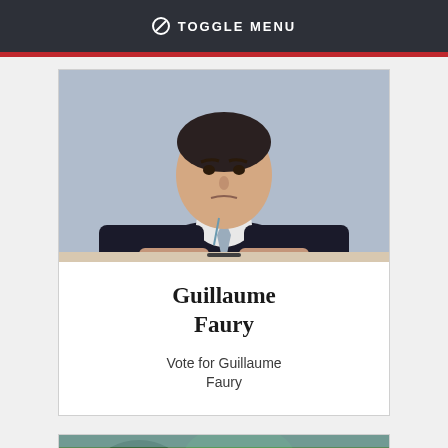⊘ TOGGLE MENU
[Figure (photo): Portrait photo of Guillaume Faury, a man in a dark suit with a grey tie, seated at a table]
Guillaume Faury
Vote for Guillaume Faury
[Figure (photo): Partial photo visible at bottom of page, showing greenery/outdoor scene]